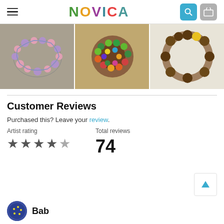NOVICA
[Figure (photo): Three product images showing beaded jewelry/bracelets in a horizontal row]
Customer Reviews
Purchased this? Leave your review.
Artist rating: 4 out of 5 stars. Total reviews: 74
Bab